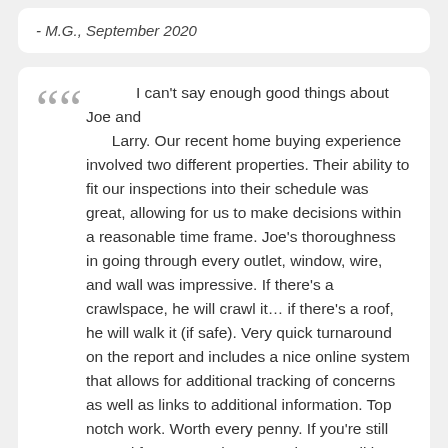- M.G., September 2020
I can't say enough good things about Joe and Larry. Our recent home buying experience involved two different properties. Their ability to fit our inspections into their schedule was great, allowing for us to make decisions within a reasonable time frame. Joe's thoroughness in going through every outlet, window, wire, and wall was impressive. If there's a crawlspace, he will crawl it… if there's a roof, he will walk it (if safe). Very quick turnaround on the report and includes a nice online system that allows for additional tracking of concerns as well as links to additional information. Top notch work. Worth every penny. If you're still around for our next home purchase, we'll be calling. - K.H., June 2020